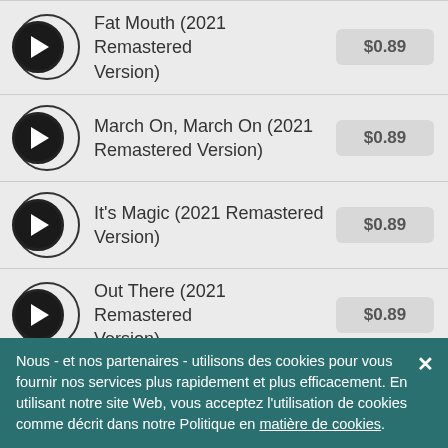Fat Mouth (2021 Remastered Version) $0.89
March On, March On (2021 Remastered Version) $0.89
It's Magic (2021 Remastered Version) $0.89
Out There (2021 Remastered Version) $0.89
Left Alone (2021 Remastered Version) $0.89
Les (2021 Remastered Version)
Nous - et nos partenaires - utilisons des cookies pour vous fournir nos services plus rapidement et plus efficacement. En utilisant notre site Web, vous acceptez l'utilisation de cookies comme décrit dans notre Politique en matière de cookies.